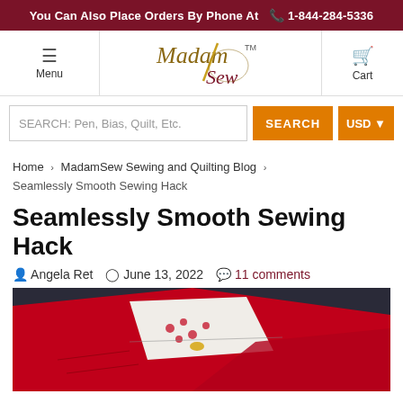You Can Also Place Orders By Phone At  ☎ 1-844-284-5336
[Figure (logo): Madam Sew logo with stylized script text and TM mark, in gold/brown italic script]
Menu
Cart
SEARCH: Pen, Bias, Quilt, Etc.
SEARCH
USD
Home › MadamSew Sewing and Quilting Blog › Seamlessly Smooth Sewing Hack
Seamlessly Smooth Sewing Hack
Angela Ret   June 13, 2022   11 comments
[Figure (photo): Close-up photo of red fabric with a small white patterned fabric piece pinned or sewn to it, showing a sewing project in progress against a dark background]